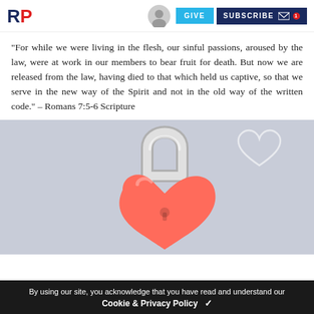RP | GIVE | SUBSCRIBE
“For while we were living in the flesh, our sinful passions, aroused by the law, were at work in our members to bear fruit for death. But now we are released from the law, having died to that which held us captive, so that we serve in the new way of the Spirit and not in the old way of the written code.” – Romans 7:5-6 Scripture
[Figure (photo): A red heart-shaped padlock with a silver shackle, on a light gray/blue background. A heart outline watermark is visible in the upper right corner.]
By using our site, you acknowledge that you have read and understand our Cookie & Privacy Policy ✓